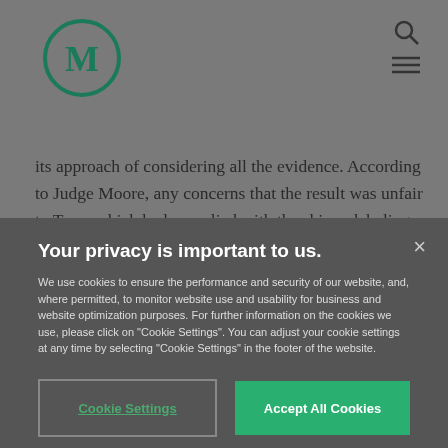[Figure (logo): Circular logo with letter M in dark green, outlined circle border]
its approach of considering all the evidence. According to Judge Moore, any concerns that the result was unfair to Teva, which had complied with the skinny labeling requirements, should be
Your privacy is important to us.
We use cookies to ensure the performance and security of our website, and, where permitted, to monitor website use and usability for business and website optimization purposes. For further information on the cookies we use, please click on "Cookie Settings". You can adjust your cookie settings at any time by selecting "Cookie Settings" in the footer of the website.
Cookie Settings
Accept All Cookies